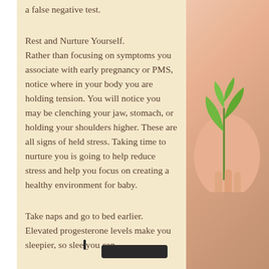a false negative test.
Rest and Nurture Yourself.
Rather than focusing on symptoms you associate with early pregnancy or PMS, notice where in your body you are holding tension. You will notice you may be clenching your jaw, stomach, or holding your shoulders higher. These are all signs of held stress. Taking time to nurture you is going to help reduce stress and help you focus on creating a healthy environment for baby.
Take naps and go to bed earlier. Elevated progesterone levels make you sleepier, so slee you can.
[Figure (photo): Person holding a small green plant seedling, photo on right side of page]